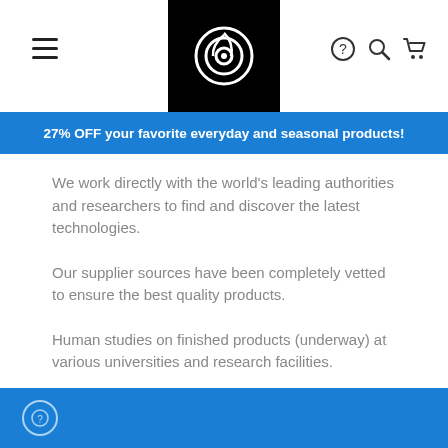Navigation header with hamburger menu, logo, and icons
27% OFF your favorite everyday and seasonal products!
We work directly with the world's leading authorities and researchers to find and discover the latest technologies.
Our supplier sources have been completely vetted to ensure the best quality products.
Human studies on finished products (underway) at various universities and research facilities.
True novelty in each product – points of difference (POD).
Footer bar with help icon